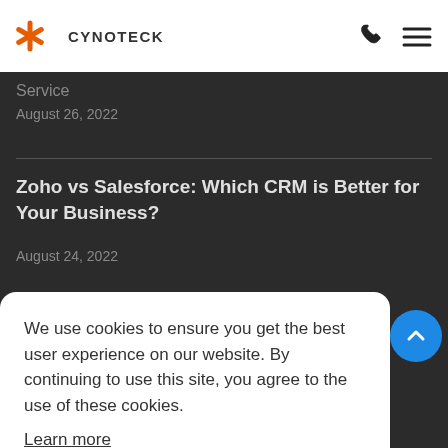CYNOTECK
Service
August 26, 2022
Zoho vs Salesforce: Which CRM is Better for Your Business?
August 24, 2022
We use cookies to ensure you get the best user experience on our website. By continuing to use this site, you agree to the use of these cookies.
Learn more
Agree